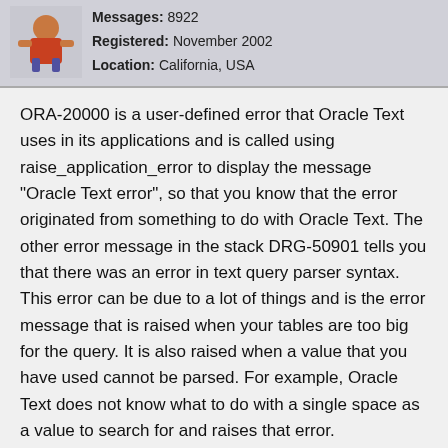Messages: 8922
Registered: November 2002
Location: California, USA
ORA-20000 is a user-defined error that Oracle Text uses in its applications and is called using raise_application_error to display the message "Oracle Text error", so that you know that the error originated from something to do with Oracle Text. The other error message in the stack DRG-50901 tells you that there was an error in text query parser syntax. This error can be due to a lot of things and is the error message that is raised when your tables are too big for the query. It is also raised when a value that you have used cannot be parsed. For example, Oracle Text does not know what to do with a single space as a value to search for and raises that error.
When you use
select ... score(1) where contains (..., ..., 1) > 0
the 1 is the label for the ancillary operator. They can be any whole numbers. but the number used in the score must match the number